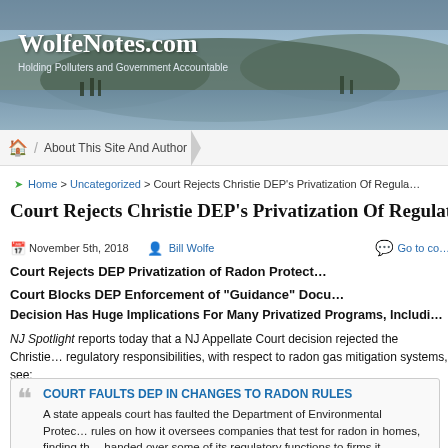[Figure (photo): Website banner with landscape photo of hills and water. WolfeNotes.com title in white serif font. Subtitle: Holding Polluters and Government Accountable]
About This Site And Author
Home > Uncategorized > Court Rejects Christie DEP’s Privatization Of Regula…
Court Rejects Christie DEP’s Privatization Of Regulatory Responsibili…
November 5th, 2018   Bill Wolfe   Go to co…
Court Rejects DEP Privatization of Radon Protect…
Court Blocks DEP Enforcement of “Guidance” Docu…
Decision Has Huge Implications For Many Privatized Programs, Includi…
NJ Spotlight reports today that a NJ Appellate Court decision rejected the Christie… regulatory responsibilities, with respect to radon gas mitigation systems, see:
COURT FAULTS DEP IN CHANGES TO RADON RULES

A state appeals court has faulted the Department of Environmental Protec… rules on how it oversees companies that test for radon in homes, finding th… handed over some of its regulatory functions to firms it oversees.